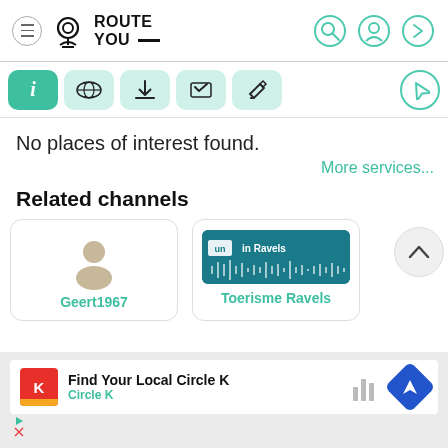[Figure (screenshot): RouteYou app navigation header with logo, hamburger menu, and search/location/login icons]
[Figure (screenshot): Toolbar with info (active), map, download, checklist, edit buttons and navigation arrow button]
No places of interest found.
More services...
Related channels
[Figure (screenshot): Card for Geert1967 with generic user avatar icon and teal name label]
[Figure (screenshot): Card for Toerisme Ravels with teal banner image and teal name label]
[Figure (screenshot): Advertisement banner: Find Your Local Circle K, Circle K brand, with logo and direction arrow icon]